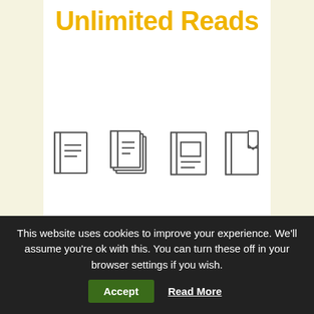Unlimited Reads
[Figure (illustration): Four book/document icons in a row: single book with lines, stacked pages, booklet with rectangle, notebook with bookmark tab]
Enjoy more Kitchen Garden reading in the monthly magazine
This website uses cookies to improve your experience. We'll assume you're ok with this. You can turn these off in your browser settings if you wish.